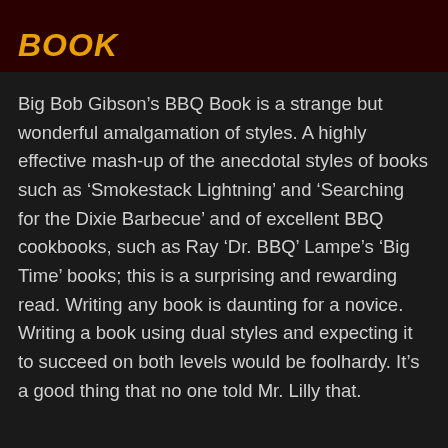Book
Big Bob Gibson’s BBQ Book is a strange but wonderful amalgamation of styles. A highly effective mash-up of the anecdotal styles of books such as ‘Smokestack Lightning’ and ‘Searching for the Dixie Barbecue’ and of excellent BBQ cookbooks, such as Ray ‘Dr. BBQ’ Lampe’s ‘Big Time’ books; this is a surprising and rewarding read. Writing any book is daunting for a novice. Writing a book using dual styles and expecting it to succeed on both levels would be foolhardy. It’s a good thing that no one told Mr. Lilly that.